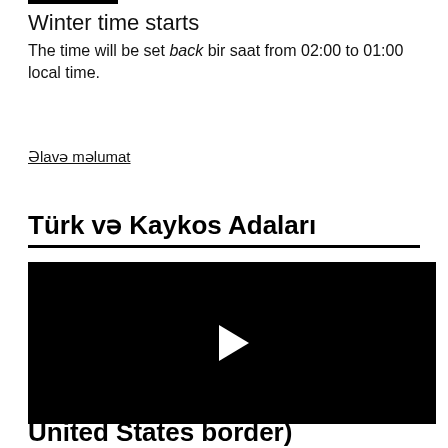Winter time starts
The time will be set back bir saat from 02:00 to 01:00 local time.
Əlavə məlumat
Türk və Kaykos Adaları
[Figure (other): Black video player with white play button in center]
United States border)